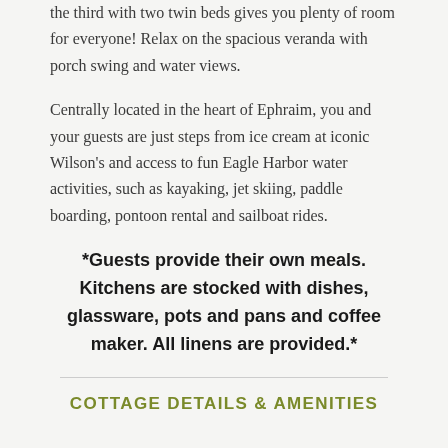the third with two twin beds gives you plenty of room for everyone! Relax on the spacious veranda with porch swing and water views.
Centrally located in the heart of Ephraim, you and your guests are just steps from ice cream at iconic Wilson's and access to fun Eagle Harbor water activities, such as kayaking, jet skiing, paddle boarding, pontoon rental and sailboat rides.
*Guests provide their own meals. Kitchens are stocked with dishes, glassware, pots and pans and coffee maker. All linens are provided.*
COTTAGE DETAILS & AMENITIES